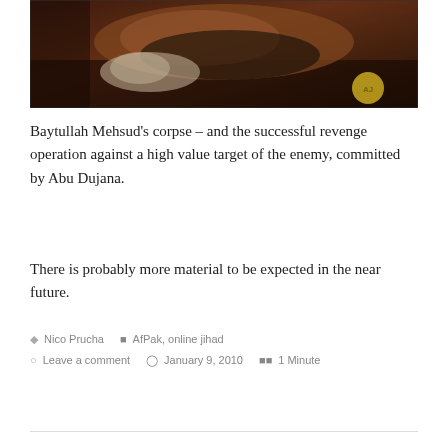[Figure (photo): A blurry video screenshot showing what appears to be a corpse, with an Al Jazeera watermark in the lower right corner. Dark and unclear imagery from a news broadcast.]
Baytullah Mehsud's corpse – and the successful revenge operation against a high value target of the enemy, committed by Abu Dujana.
There is probably more material to be expected in the near future.
Nico Prucha   AfPak, online jihad   Leave a comment   January 9, 2010   1 Minute